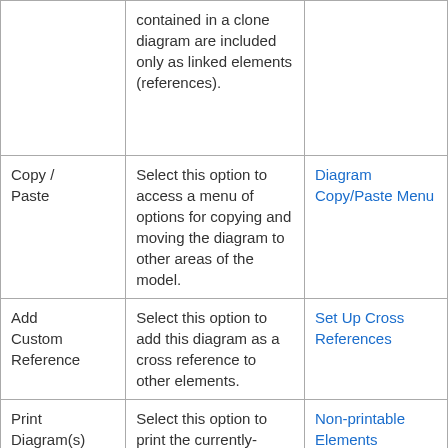|  | contained in a clone diagram are included only as linked elements (references). |  |
| Copy / Paste | Select this option to access a menu of options for copying and moving the diagram to other areas of the model. | Diagram Copy/Paste Menu |
| Add Custom Reference | Select this option to add this diagram as a cross reference to other elements. | Set Up Cross References |
| Print Diagram(s) | Select this option to print the currently-selected diagram or diagrams (hold Ctrl or | Non-printable Elements |